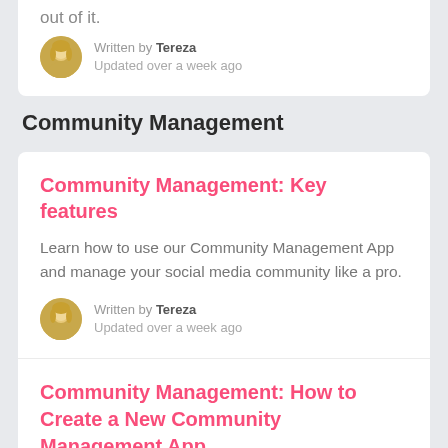out of it.
Written by Tereza
Updated over a week ago
Community Management
Community Management: Key features
Learn how to use our Community Management App and manage your social media community like a pro.
Written by Tereza
Updated over a week ago
Community Management: How to Create a New Community Management App